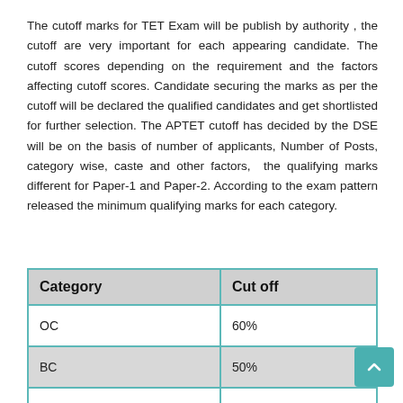The cutoff marks for TET Exam will be publish by authority , the cutoff are very important for each appearing candidate. The cutoff scores depending on the requirement and the factors affecting cutoff scores. Candidate securing the marks as per the cutoff will be declared the qualified candidates and get shortlisted for further selection. The APTET cutoff has decided by the DSE will be on the basis of number of applicants, Number of Posts, category wise, caste and other factors,  the qualifying marks different for Paper-1 and Paper-2. According to the exam pattern released the minimum qualifying marks for each category.
| Category | Cut off |
| --- | --- |
| OC | 60% |
| BC | 50% |
| SC | 40% |
| ST | 40% |